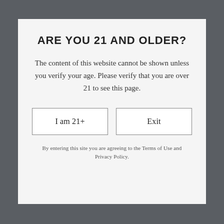ARE YOU 21 AND OLDER?
The content of this website cannot be shown unless you verify your age. Please verify that you are over 21 to see this page.
I am 21+
Exit
By entering this site you are agreeing to the Terms of Use and Privacy Policy.